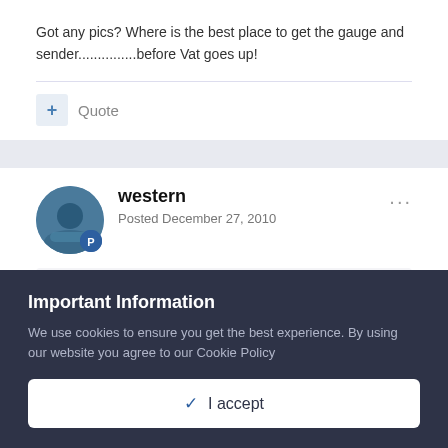Got any pics? Where is the best place to get the gauge and sender...............before Vat goes up!
Quote
western
Posted December 27, 2010
On 12/27/2010 at 10:11 AM, Turnip said:
Important Information
We use cookies to ensure you get the best experience. By using our website you agree to our Cookie Policy
I accept